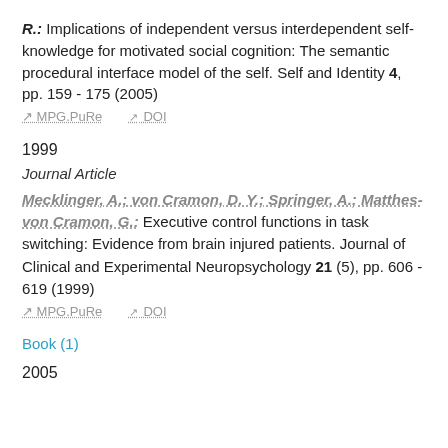R.: Implications of independent versus interdependent self-knowledge for motivated social cognition: The semantic procedural interface model of the self. Self and Identity 4, pp. 159 - 175 (2005)
MPG.PuRe  DOI
1999
Journal Article
Mecklinger, A.; von Cramon, D. Y.; Springer, A.; Matthes-von Cramon, G.: Executive control functions in task switching: Evidence from brain injured patients. Journal of Clinical and Experimental Neuropsychology 21 (5), pp. 606 - 619 (1999)
MPG.PuRe  DOI
Book (1)
2005